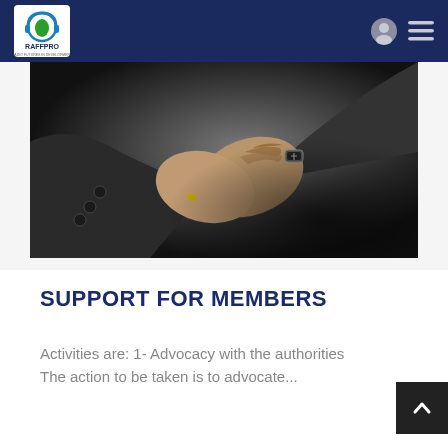RAFFPRO
[Figure (photo): Close-up photo of two people shaking hands, both wearing dark suits, dramatic dark background lighting.]
SUPPORT FOR MEMBERS
Activities are: 1- Advocacy with the authorities The action to be taken is to advocate...